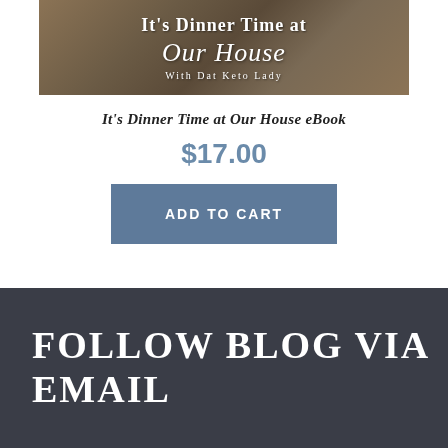[Figure (illustration): Book cover image showing 'It's Dinner Time at Our House with Dat Keto Lady' with food photos on a stone/granite background]
It's Dinner Time at Our House eBook
$17.00
ADD TO CART
FOLLOW BLOG VIA EMAIL